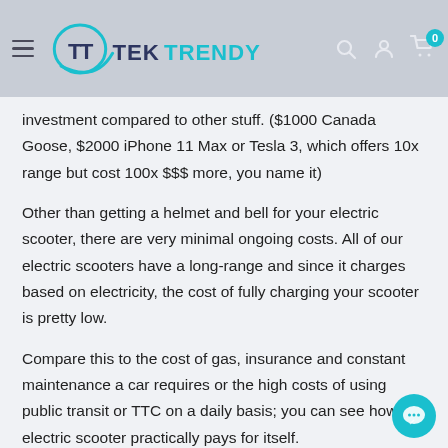TekTrendy — navigation header with logo, search, account, and cart (0 items)
investment compared to other stuff. ($1000 Canada Goose, $2000 iPhone 11 Max or Tesla 3, which offers 10x range but cost 100x $$$ more, you name it)
Other than getting a helmet and bell for your electric scooter, there are very minimal ongoing costs. All of our electric scooters have a long-range and since it charges based on electricity, the cost of fully charging your scooter is pretty low.
Compare this to the cost of gas, insurance and constant maintenance a car requires or the high costs of using public transit or TTC on a daily basis; you can see how the electric scooter practically pays for itself.